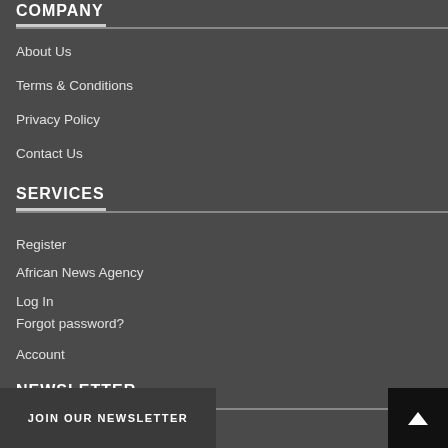COMPANY
About Us
Terms & Conditions
Privacy Policy
Contact Us
SERVICES
Register
African News Agency
Log In
Forgot password?
Account
NEWSLETTER
JOIN OUR NEWSLETTER